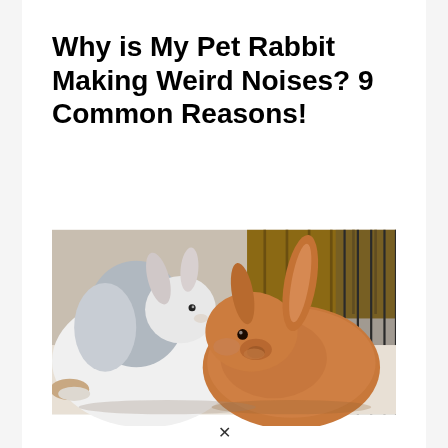Why is My Pet Rabbit Making Weird Noises? 9 Common Reasons!
[Figure (photo): Two rabbits lying together in a cage — one white/grey rabbit on the left and one brown/orange rabbit on the right, touching noses, with wooden and metal cage bars visible in the background.]